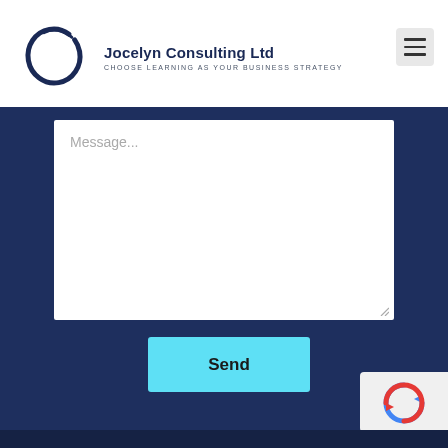[Figure (logo): Jocelyn Consulting Ltd logo: dark navy brush-stroke circle outline]
Jocelyn Consulting Ltd
CHOOSE LEARNING AS YOUR BUSINESS STRATEGY
[Figure (screenshot): Message textarea input field with placeholder text 'Message...' on dark navy background]
Send
[Figure (other): reCAPTCHA widget in bottom right corner]